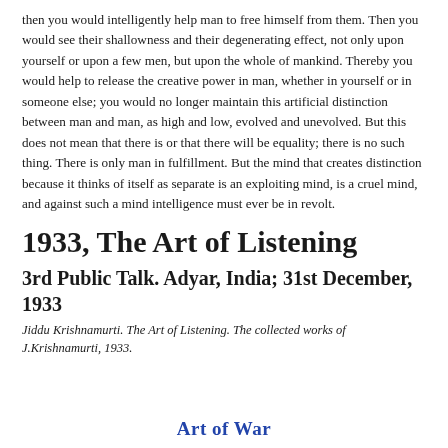then you would intelligently help man to free himself from them. Then you would see their shallowness and their degenerating effect, not only upon yourself or upon a few men, but upon the whole of mankind. Thereby you would help to release the creative power in man, whether in yourself or in someone else; you would no longer maintain this artificial distinction between man and man, as high and low, evolved and unevolved. But this does not mean that there is or that there will be equality; there is no such thing. There is only man in fulfillment. But the mind that creates distinction because it thinks of itself as separate is an exploiting mind, is a cruel mind, and against such a mind intelligence must ever be in revolt.
1933, The Art of Listening
3rd Public Talk. Adyar, India; 31st December, 1933
Jiddu Krishnamurti. The Art of Listening. The collected works of J.Krishnamurti, 1933.
Art of War